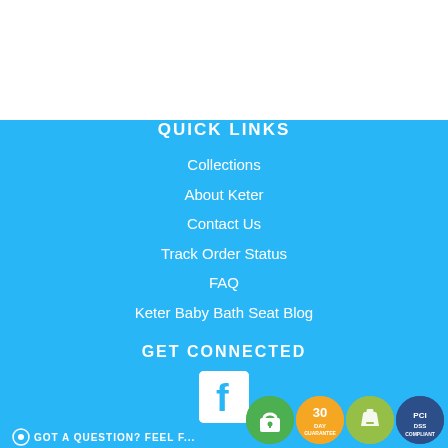QUICK LINKS
Collections
About Keter
Contact Us
Track Order Status
FAQ
Keter Baby Bath Seat Blog
GET CONNECTED
[Figure (logo): Facebook logo icon - white F on blue/white square background]
[Figure (infographic): Security badges row: green padlock/SSL badge, yellow 30-day badge, Shopify bag badge, PCI compliance badge]
GOT A QUESTION? FEEL F...